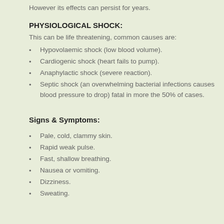However its effects can persist for years.
PHYSIOLOGICAL SHOCK:
This can be life threatening, common causes are:
Hypovolaemic shock (low blood volume).
Cardiogenic shock (heart fails to pump).
Anaphylactic shock (severe reaction).
Septic shock (an overwhelming bacterial infections causes blood pressure to drop) fatal in more the 50% of cases.
Signs & Symptoms:
Pale, cold, clammy skin.
Rapid weak pulse.
Fast, shallow breathing.
Nausea or vomiting.
Dizziness.
Sweating.